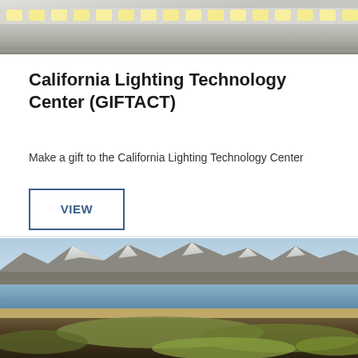[Figure (photo): Close-up photo of LED light strip with yellow LED dots on a gray/silver housing]
California Lighting Technology Center (GIFTACT)
Make a gift to the California Lighting Technology Center
VIEW
[Figure (photo): Landscape photo of a mountain lake scene with snow-capped mountains in the background, water in the middle, sandy shore, and vegetation/algae-covered ground in the foreground]